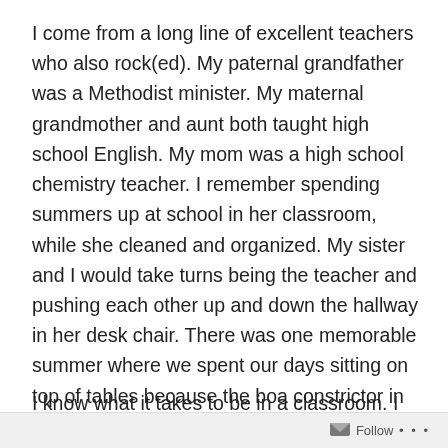I come from a long line of excellent teachers who also rock(ed). My paternal grandfather was a Methodist minister. My maternal grandmother and aunt both taught high school English. My mom was a high school chemistry teacher. I remember spending summers up at school in her classroom, while she cleaned and organized. My sister and I would take turns being the teacher and pushing each other up and down the hallway in her desk chair. There was one memorable summer where we spent our days sitting on top of tables because the boa constrictor in Mr. Reeve's animal room had escaped and we were sure that it was coming to get us.
I know what it takes to be in a classroom. I know the
Follow ...